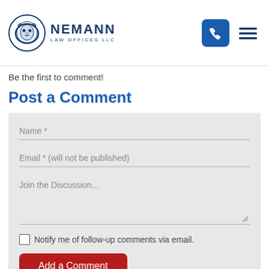NEMANN LAW OFFICES LLC
Be the first to comment!
Post a Comment
Name *
Email * (will not be published)
Join the Discussion...
Notify me of follow-up comments via email.
Add a Comment